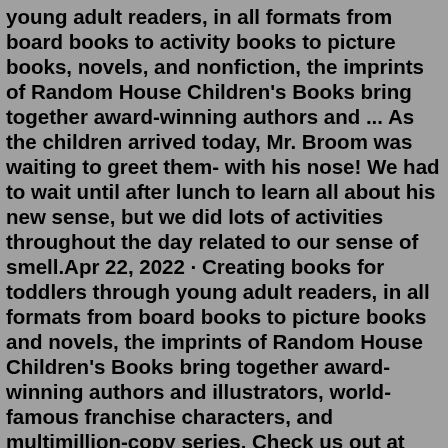young adult readers, in all formats from board books to activity books to picture books, novels, and nonfiction, the imprints of Random House Children's Books bring together award-winning authors and ... As the children arrived today, Mr. Broom was waiting to greet them- with his nose! We had to wait until after lunch to learn all about his new sense, but we did lots of activities throughout the day related to our sense of smell.Apr 22, 2022 · Creating books for toddlers through young adult readers, in all formats from board books to picture books and novels, the imprints of Random House Children's Books bring together award-winning authors and illustrators, world-famous franchise characters, and multimillion-copy series. Check us out at rhcbooks.com! RHTeachersLibrarians.com RHCBEducators The Random School House FAIRY TALE—INSPIRED FUN! EDUCATORS' GUIDE About the Books CLASSROOM ACTIVITIESJul 05, 2022 · Random House Children's Books (rhcbooks.com) is the world's largest English-language children's trade book